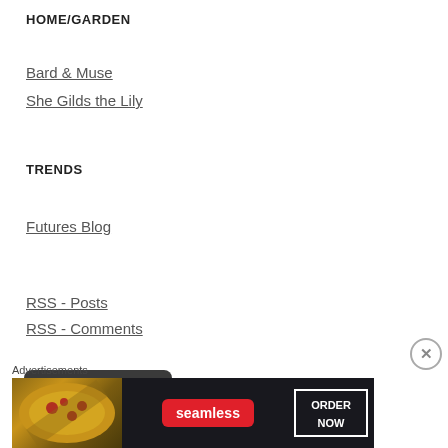HOME/GARDEN
Bard & Muse
She Gilds the Lily
TRENDS
Futures Blog
RSS - Posts
RSS - Comments
[Figure (other): Partial view of a dark rounded button/widget at the bottom of the sidebar]
Advertisements
[Figure (other): Seamless food delivery advertisement banner with pizza image and 'ORDER NOW' button on dark background]